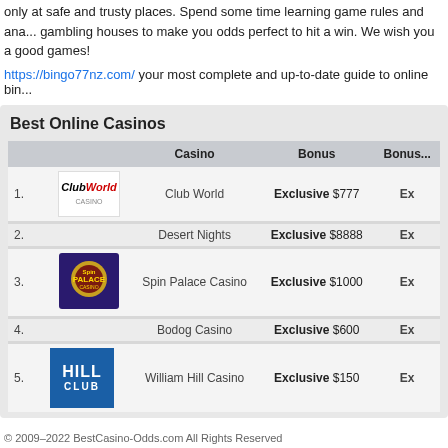only at safe and trusty places. Spend some time learning game rules and analyzing gambling houses to make you odds perfect to hit a win. We wish you a good games!
https://bingo77nz.com/ your most complete and up-to-date guide to online bingo
|  | Casino | Bonus | Bonus |
| --- | --- | --- | --- |
| 1. | Club World | Exclusive $777 | Ex |
| 2. | Desert Nights | Exclusive $8888 | Ex |
| 3. | Spin Palace Casino | Exclusive $1000 | Ex |
| 4. | Bodog Casino | Exclusive $600 | Ex |
| 5. | William Hill Casino | Exclusive $150 | Ex |
© 2009–2022 BestCasino-Odds.com All Rights Reserved